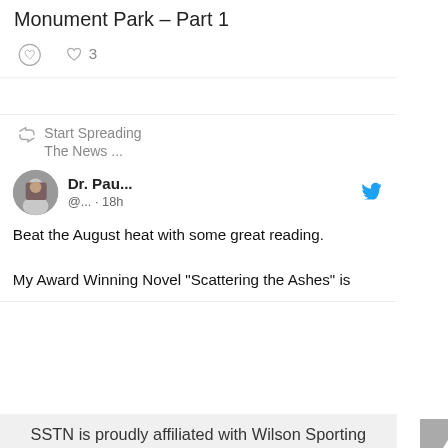Monument Park – Part 1
♡ 3
Start Spreading The News ...
Dr. Pau... @... · 18h
Beat the August heat with some great reading.

My Award Winning Novel "Scattering the Ashes" is
SSTN is proudly affiliated with Wilson Sporting Goods! Check out our press release here, and support us by using the affiliate links below:
[Figure (screenshot): Partial image with 'UP TO' text on blue background]
[Figure (other): Scroll to top button (arrow up) and more options button (three dots)]